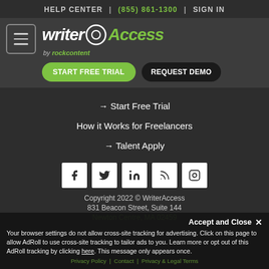HELP CENTER | (855) 861-1300 | SIGN IN
[Figure (logo): WriterAccess by rockcontent logo with hamburger menu and action buttons: START FREE TRIAL, REQUEST DEMO]
→ Start Free Trial
How it Works for Freelancers
→ Talent Apply
[Figure (other): Social media icons: Facebook, Twitter, LinkedIn, RSS, Instagram]
Copyright 2022 © WriterAccess
831 Beacon Street, Suite 144
Newton Centre, MA 02459
Accept and Close ✕
Your browser settings do not allow cross-site tracking for advertising. Click on this page to allow AdRoll to use cross-site tracking to tailor ads to you. Learn more or opt out of this AdRoll tracking by clicking here. This message only appears once.